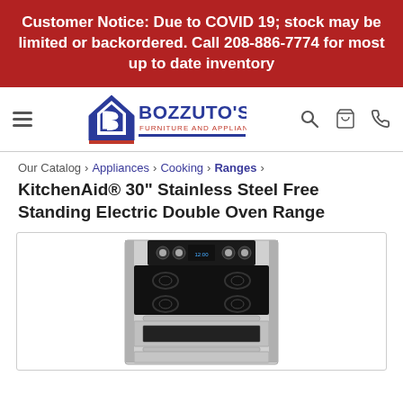Customer Notice: Due to COVID 19; stock may be limited or backordered. Call 208-886-7774 for most up to date inventory
[Figure (logo): Bozzuto's Furniture and Appliance logo with navigation icons (hamburger menu, search, cart, phone)]
Our Catalog › Appliances › Cooking › Ranges ›
KitchenAid® 30" Stainless Steel Free Standing Electric Double Oven Range
[Figure (photo): KitchenAid stainless steel free standing electric double oven range, front view showing control panel with knobs, glass cooktop surface, and lower oven door]